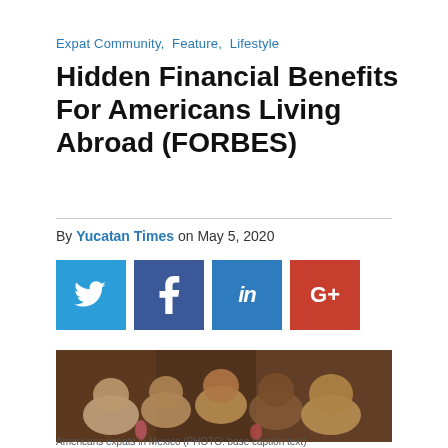Expat Community,  Feature,  Lifestyle
Hidden Financial Benefits For Americans Living Abroad (FORBES)
By Yucatan Times on May 5, 2020
[Figure (other): Social media share buttons: Twitter (blue), Facebook (dark blue), LinkedIn (blue), Google+ (red)]
[Figure (photo): Group of Americans socializing in Mexico at a bar/restaurant setting, smiling at the camera]
Americans expats in Mexico (PHOTO: base caption text)